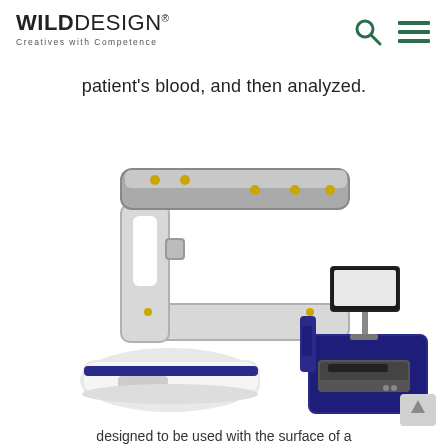WILDDESIGN® Creatives with Competence
patient's blood, and then analyzed.
[Figure (photo): Medical diagnostic device components: top shows a C-shaped scanner/reader arm in gray and white with yellow sensor dots; bottom left shows a white and dark blue slide/cassette component; bottom right shows a compact dark blue and gray laboratory analyzer unit with a monitor screen on a stand.]
designed to be used with the surface of a